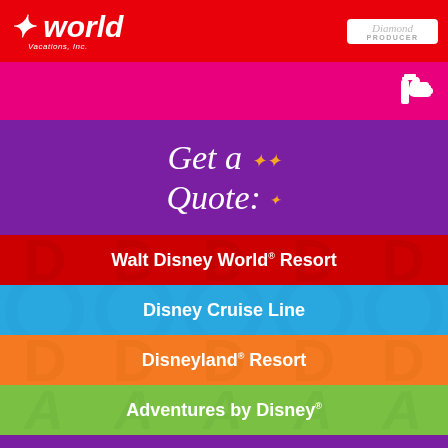[Figure (logo): Magical World Vacations Inc. logo on red background with Diamond Producer badge]
[Figure (illustration): Hot pink bar with thumbs up icon on right side]
[Figure (illustration): Purple banner with cursive Get a Quote: text and sparkle stars]
Walt Disney World ® Resort
Disney Cruise Line
Disneyland ® Resort
Adventures by Disney ®
Aulani, A Disney ® Resort & Spa
Universal ® Orlando